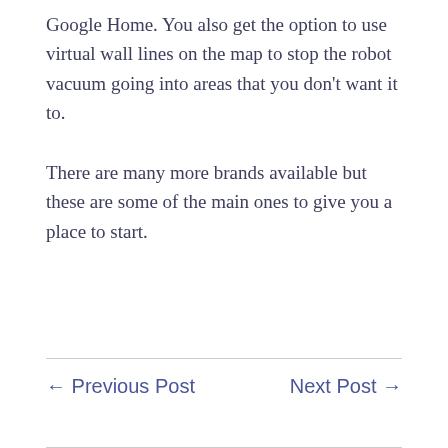Google Home. You also get the option to use virtual wall lines on the map to stop the robot vacuum going into areas that you don't want it to.
There are many more brands available but these are some of the main ones to give you a place to start.
← Previous Post    Next Post →